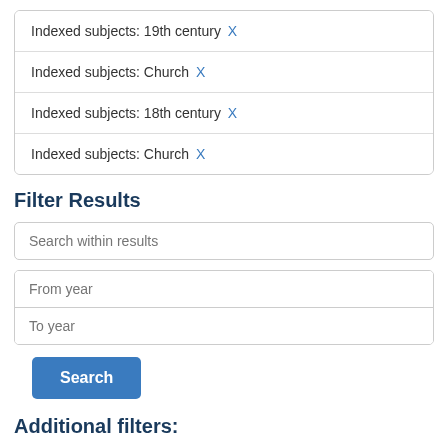Indexed subjects: 19th century X
Indexed subjects: Church X
Indexed subjects: 18th century X
Indexed subjects: Church X
Filter Results
Search within results
From year
To year
Search
Additional filters: